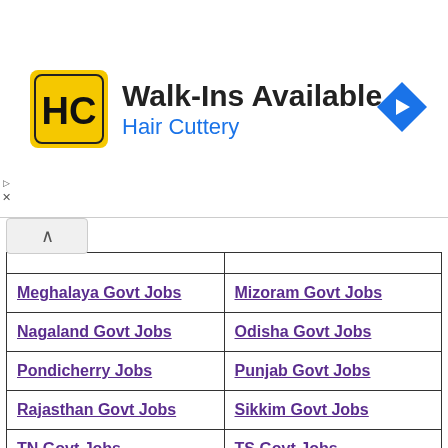[Figure (other): Hair Cuttery advertisement banner with logo, 'Walk-Ins Available' headline, and navigation arrow icon]
| Column 1 | Column 2 |
| --- | --- |
| Meghalaya Govt Jobs | Mizoram Govt Jobs |
| Nagaland Govt Jobs | Odisha Govt Jobs |
| Pondicherry Jobs | Punjab Govt Jobs |
| Rajasthan Govt Jobs | Sikkim Govt Jobs |
| TN Govt Jobs | TS Govt Jobs |
| Tripura Govt Jobs | Uttarakhand Govt Jobs |
| UP Govt Jobs | West Bengal Govt Jobs |